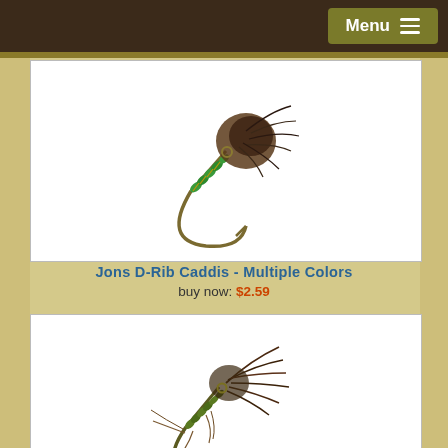Menu
[Figure (photo): Jons D-Rib Caddis fly fishing lure with green segmented body and dark brown hackle on a curved hook, shown on white background]
Jons D-Rib Caddis - Multiple Colors
buy now: $2.59
[Figure (photo): Jons Holographic Biot Caddis fly fishing lure with olive/green body and brown hackle feathers on a curved hook, shown on white background]
Jons Holographic Biot Caddis